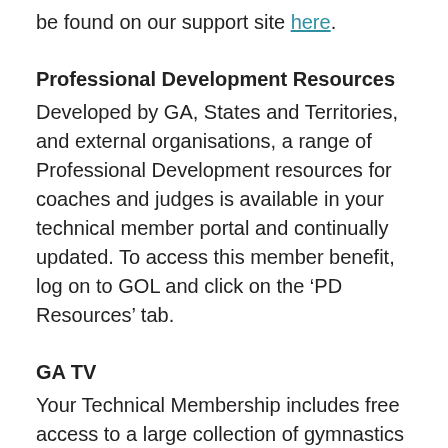be found on our support site here.
Professional Development Resources
Developed by GA, States and Territories, and external organisations, a range of Professional Development resources for coaches and judges is available in your technical member portal and continually updated. To access this member benefit, log on to GOL and click on the ‘PD Resources’ tab.
GA TV
Your Technical Membership includes free access to a large collection of gymnastics videos relevant to your accreditation level.
If you are a current Gymnastics Australia, log in to your account and go to your benefits tab to access GA TV.